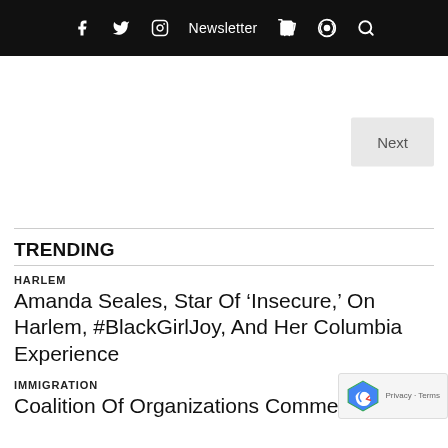f  Twitter  Instagram  Newsletter  Cart  Podcast  Search
Next
TRENDING
HARLEM
Amanda Seales, Star Of ‘Insecure,’ On Harlem, #BlackGirlJoy, And Her Columbia Experience
IMMIGRATION
Coalition Of Organizations Commend The